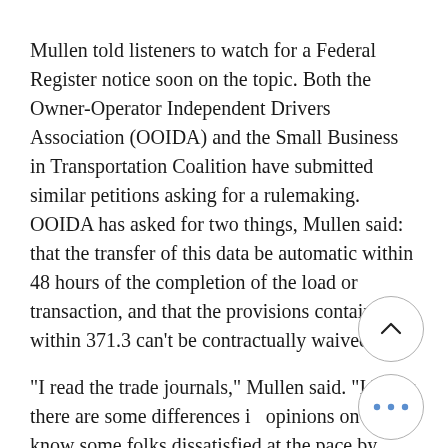Mullen told listeners to watch for a Federal Register notice soon on the topic. Both the Owner-Operator Independent Drivers Association (OOIDA) and the Small Business in Transportation Coalition have submitted similar petitions asking for a rulemaking. OOIDA has asked for two things, Mullen said: that the transfer of this data be automatic within 48 hours of the completion of the load or transaction, and that the provisions contained within 371.3 can’t be contractually waived.
“I read the trade journals,” Mullen said. “I know there are some differences in opinions on this. I know some folks dissatisfied at the pace by which the